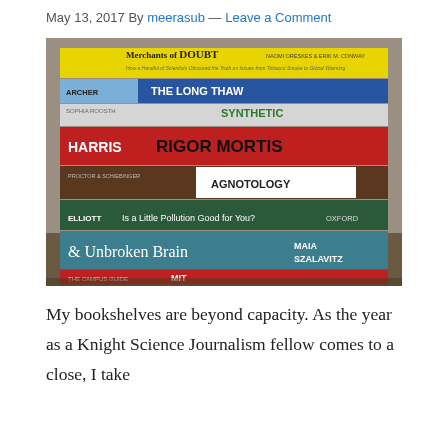May 13, 2017 By meerasub — Leave a Comment
[Figure (photo): A stack of books on a wooden surface. Visible titles from top to bottom: Merchants of DOUBT, THE LONG THAW (Archer), SYNTHETIC (Sophia Roosth), RIGOR MORTIS (Harris), AGNOTOLOGY (Proctor & Schiebinger), Is a Little Pollution Good for You? (Elliott, Oxford), Unbroken Brain (Maia Szalavitz), MIT (The Campus Guide)]
My bookshelves are beyond capacity. As the year as a Knight Science Journalism fellow comes to a close, I take